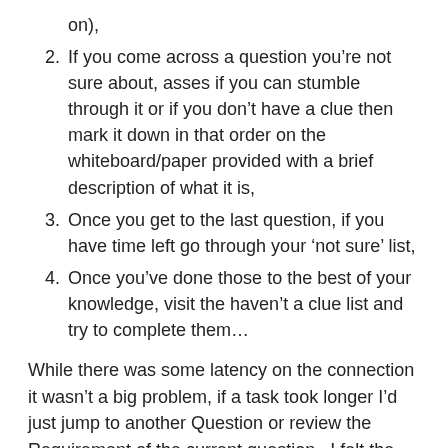on),
2. If you come across a question you’re not sure about, asses if you can stumble through it or if you don’t have a clue then mark it down in that order on the whiteboard/paper provided with a brief description of what it is,
3. Once you get to the last question, if you have time left go through your ‘not sure’ list,
4. Once you’ve done those to the best of your knowledge, visit the haven’t a clue list and try to complete them…
While there was some latency on the connection it wasn’t a big problem, if a task took longer I’d just jump to another Question or review the Requirement of the current question.  I felt the lag gave me room to breath a bit and take stock of the question I was working on.